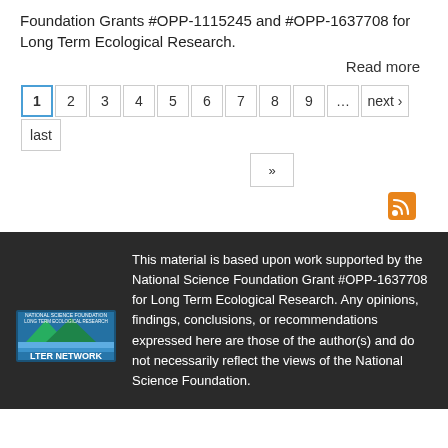Foundation Grants #OPP-1115245 and #OPP-1637708 for Long Term Ecological Research.
Read more
1 2 3 4 5 6 7 8 9 ... next › last »
[Figure (logo): RSS feed icon (orange square with white wifi-style signal lines)]
[Figure (logo): LTER Network logo — National Science Foundation Long Term Ecological Research network badge]
This material is based upon work supported by the National Science Foundation Grant #OPP-1637708 for Long Term Ecological Research. Any opinions, findings, conclusions, or recommendations expressed here are those of the author(s) and do not necessarily reflect the views of the National Science Foundation.